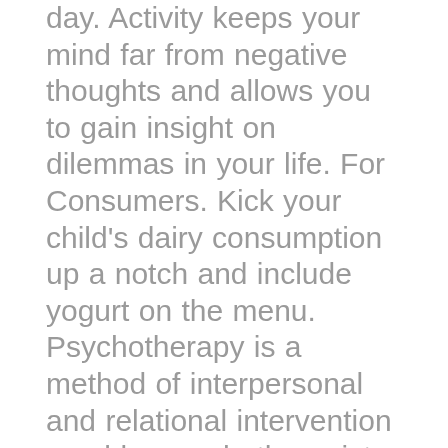day. Activity keeps your mind far from negative thoughts and allows you to gain insight on dilemmas in your life. For Consumers. Kick your child's dairy consumption up a notch and include yogurt on the menu. Psychotherapy is a method of interpersonal and relational intervention used by psychotherapists in helping people deal with their problems in life. Still for people short on time and low on cash, shaving still promises to be an affordable practical solution Prednisolone 20 Canada Mastercard. Account Sign up